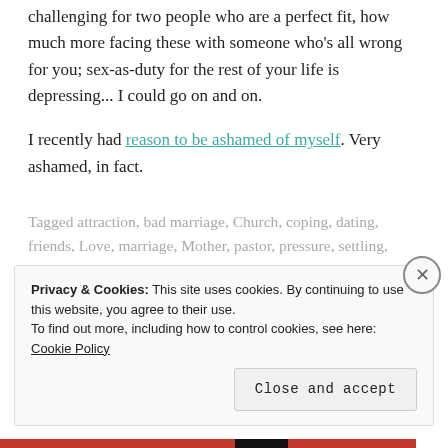challenging for two people who are a perfect fit, how much more facing these with someone who's all wrong for you; sex-as-duty for the rest of your life is depressing... I could go on and on.
I recently had reason to be ashamed of myself. Very ashamed, in fact.
Tagged attraction, bad marriage, Church, coping, dating, friends, Love, marriage, Mother, pastor, pressure, settling, single
Leave a comment
Privacy & Cookies: This site uses cookies. By continuing to use this website, you agree to their use.
To find out more, including how to control cookies, see here: Cookie Policy
Close and accept